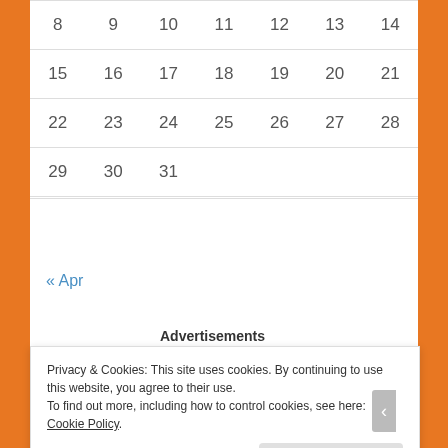| 8 | 9 | 10 | 11 | 12 | 13 | 14 |
| 15 | 16 | 17 | 18 | 19 | 20 | 21 |
| 22 | 23 | 24 | 25 | 26 | 27 | 28 |
| 29 | 30 | 31 |  |  |  |  |
« Apr
Advertisements
[Figure (illustration): Colorful advertisement banner with pink-to-purple gradient background featuring doodle-style icons including a sailboat, skull, plants, flowers, and various decorative elements]
Privacy & Cookies: This site uses cookies. By continuing to use this website, you agree to their use.
To find out more, including how to control cookies, see here: Cookie Policy
Close and accept